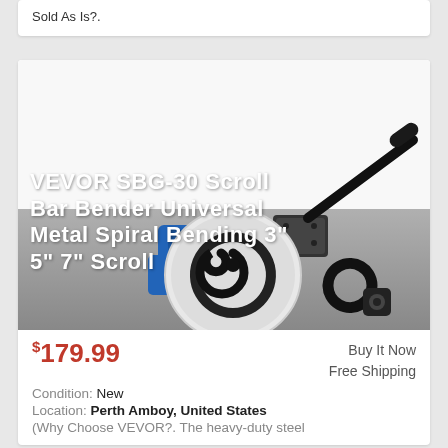Sold As Is?.
[Figure (photo): VEVOR SBG-30 Scroll Bar Bender tool with blue body and black handle, showing a metal spiral scroll shape. Overlaid text reads: VEVOR SBG-30 Scroll Bar Bender Universal Metal Spiral Bending 3" 5" 7" Scroll. Small accessory pieces visible at bottom right.]
$179.99
Buy It Now
Free Shipping
Condition: New
Location: Perth Amboy, United States
(Why Choose VEVOR?. The heavy-duty steel